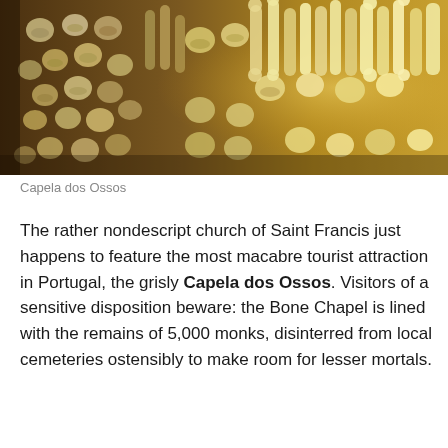[Figure (photo): Interior photograph of Chapel of Bones (Capela dos Ossos) showing walls lined with human skulls and bones, with some bones illuminated in golden light on the right side]
Capela dos Ossos
The rather nondescript church of Saint Francis just happens to feature the most macabre tourist attraction in Portugal, the grisly Capela dos Ossos. Visitors of a sensitive disposition beware: the Bone Chapel is lined with the remains of 5,000 monks, disinterred from local cemeteries ostensibly to make room for lesser mortals.